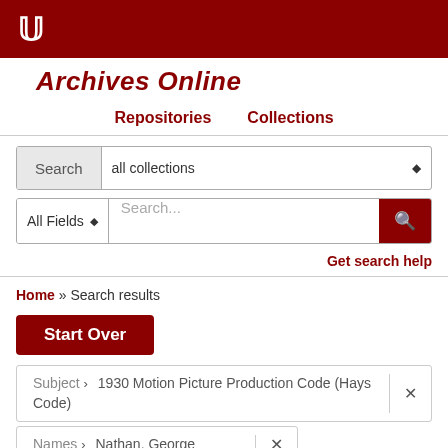[Figure (logo): Indiana University trident logo in white on dark red header bar]
Archives Online
Repositories   Collections
[Figure (screenshot): Search bar with 'Search all collections' dropdown]
[Figure (screenshot): Search bar with All Fields dropdown and Search... input]
Get search help
Home » Search results
Start Over
Subject › 1930 Motion Picture Production Code (Hays Code)
Names › Nathan, George